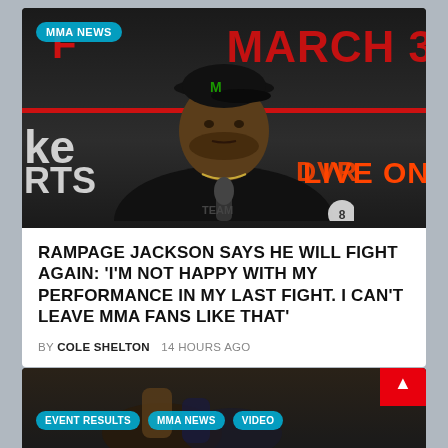[Figure (photo): Rampage Jackson at a press conference wearing a black cap with Monster Energy logo and black t-shirt, seated at a table with microphones. Background shows event signage with red text 'MARCH 3' and 'LIVE ON'.]
RAMPAGE JACKSON SAYS HE WILL FIGHT AGAIN: ‘I’M NOT HAPPY WITH MY PERFORMANCE IN MY LAST FIGHT. I CAN’T LEAVE MMA FANS LIKE THAT’
BY COLE SHELTON    14 HOURS AGO
[Figure (photo): Partial view of a second article card at the bottom showing fighters, with badges: EVENT RESULTS, MMA NEWS, VIDEO, and a red scroll-up button.]